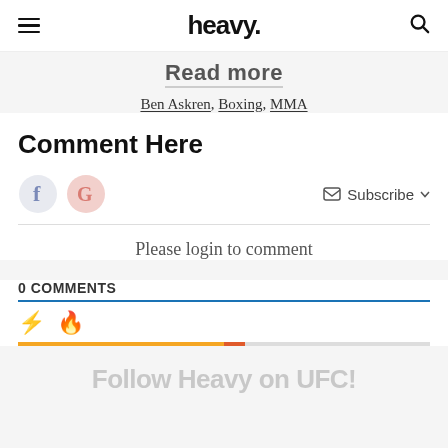heavy.
Read more
Ben Askren, Boxing, MMA
Comment Here
Please login to comment
0 COMMENTS
Follow Heavy on UFC!